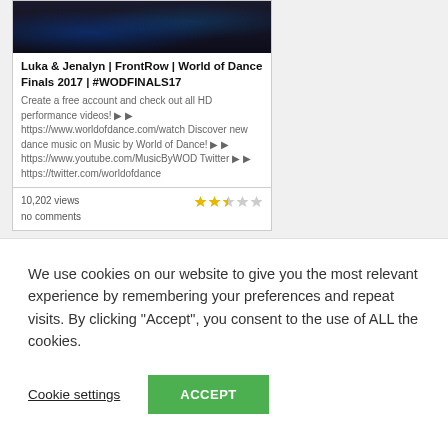[Figure (screenshot): Dark concert/dance performance video thumbnail with blue stage lighting]
Luka & Jenalyn | FrontRow | World of Dance Finals 2017 | #WODFINALS17
Create a free account and check out all HD performance videos! ▶▶ https://www.worldofdance.com/watch Discover new dance music on Music by World of Dance! ▶▶ https://www.youtube.com/MusicByWOD Twitter ▶▶ https://twitter.com/worldofdance
10,202 views
no comments
We use cookies on our website to give you the most relevant experience by remembering your preferences and repeat visits. By clicking "Accept", you consent to the use of ALL the cookies.